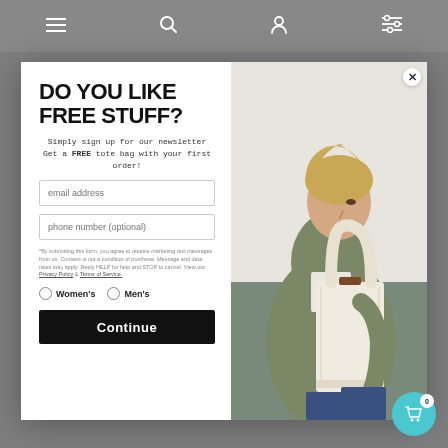Navigation bar with menu, search, account, and filter icons
DO YOU LIKE FREE STUFF?
Simply sign up for our newsletter Get a FREE tote bag with your first order!
email address
phone number (optional)
*By submitting this form, you agree to receive marketing text messages from us. Consent is not a condition of purchase. Message and data rates may apply. Reply HELP for help and STOP to cancel. View our Privacy Policy & Terms of Service.
Women's
Men's
Continue
[Figure (photo): Woman wearing olive green bomber jacket holding a cream canvas tote bag with brown leather handles, photographed from side profile]